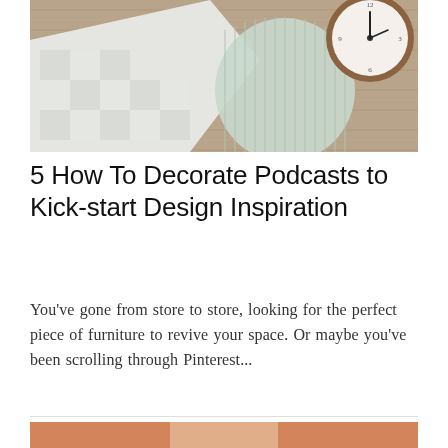[Figure (photo): Overhead flat-lay photo of white checkered bedding fabric, a light green ribbed pillow, and a round wooden analog clock on a woven tan/brown textured surface]
5 How To Decorate Podcasts to Kick-start Design Inspiration
You've gone from store to store, looking for the perfect piece of furniture to revive your space. Or maybe you've been scrolling through Pinterest...
[Figure (photo): Partial photo at bottom of page showing warm orange/terracotta background with a light-colored framed item visible]